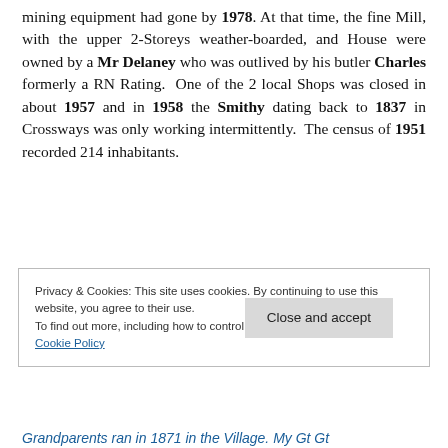Mining equipment had gone by 1978. At that time, the fine Mill, with the upper 2-Storeys weather-boarded, and House were owned by a Mr Delaney who was outlived by his butler Charles formerly a RN Rating. One of the 2 local Shops was closed in about 1957 and in 1958 the Smithy dating back to 1837 in Crossways was only working intermittently. The census of 1951 recorded 214 inhabitants.
Privacy & Cookies: This site uses cookies. By continuing to use this website, you agree to their use.
To find out more, including how to control cookies, see here:
Cookie Policy
Grandparents ran in 1871 in the Village. My Gt Gt